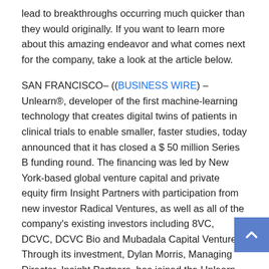lead to breakthroughs occurring much quicker than they would originally. If you want to learn more about this amazing endeavor and what comes next for the company, take a look at the article below.
SAN FRANCISCO– ((BUSINESS WIRE) –Unlearn®, developer of the first machine-learning technology that creates digital twins of patients in clinical trials to enable smaller, faster studies, today announced that it has closed a $ 50 million Series B funding round. The financing was led by New York-based global venture capital and private equity firm Insight Partners with participation from new investor Radical Ventures, as well as all of the company's existing investors including 8VC, DCVC, DCVC Bio and Mubadala Capital Ventures. Through its investment, Dylan Morris, Managing Director, Insight Partners, has joined the Unlearn Board of Directors.
Unlearn works with pharma sponsors, biotech companies,